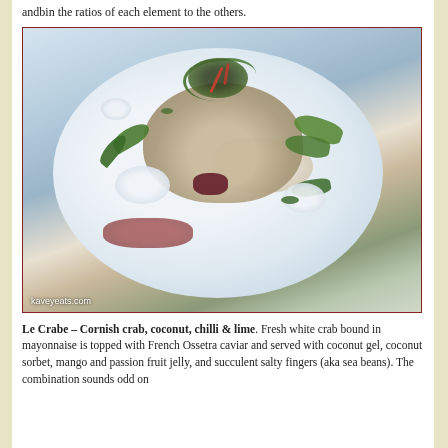andbin the ratios of each element to the others.
[Figure (photo): A beautifully plated dish of Le Crabe – Cornish crab in a white bowl, topped with French Ossetra caviar and garnished with coconut gel blobs, green leaves, red chili strips, and red beetroot. Watermark: kaveyeats.com]
Le Crabe – Cornish crab, coconut, chilli & lime. Fresh white crab bound in mayonnaise is topped with French Ossetra caviar and served with coconut gel, coconut sorbet, mango and passion fruit jelly, and succulent salty fingers (aka sea beans). The combination sounds odd on